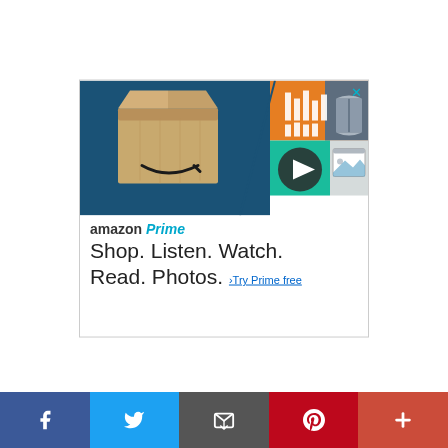[Figure (illustration): Amazon Prime advertisement banner showing an open Amazon box, music/audio bars icon, video play button, book icon, and photo gallery icon arranged in a tiled layout with blue, orange, green, gray, and white color blocks. Below the graphic: amazon Prime logo, tagline 'Shop. Listen. Watch. Read. Photos. > Try Prime free']
[Figure (infographic): Social sharing bar at the bottom with five buttons: Facebook (dark blue, f icon), Twitter (light blue, bird icon), Email (gray, envelope icon), Pinterest (dark red, P icon), More (red-orange, plus icon)]